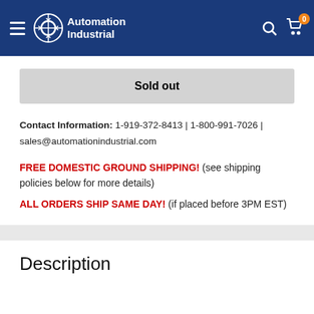Automation Industrial
Sold out
Contact Information: 1-919-372-8413 | 1-800-991-7026 | sales@automationindustrial.com
FREE DOMESTIC GROUND SHIPPING! (see shipping policies below for more details)
ALL ORDERS SHIP SAME DAY! (if placed before 3PM EST)
Description